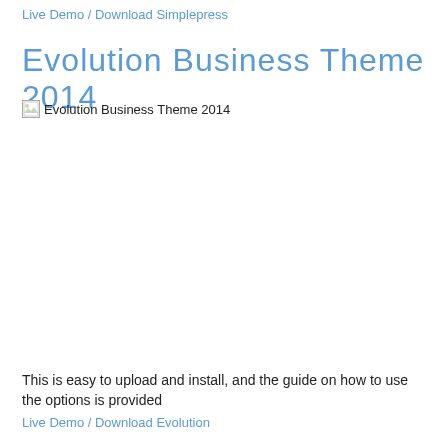Live Demo / Download Simplepress
Evolution Business Theme 2014
[Figure (photo): Broken image placeholder with alt text 'Evolution Business Theme 2014']
This is easy to upload and install, and the guide on how to use the options is provided
Live Demo / Download Evolution